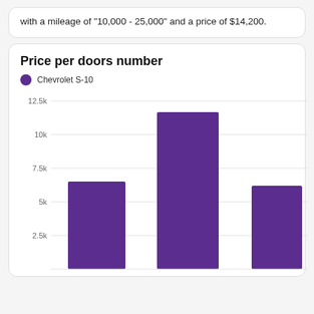with a mileage of "10,000 - 25,000" and a price of $14,200.
[Figure (bar-chart): Price per doors number]